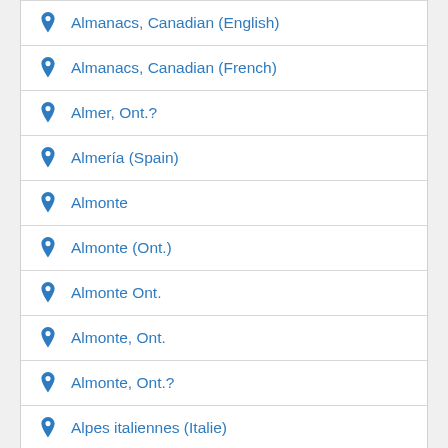Almanacs, Canadian (English)
Almanacs, Canadian (French)
Almer, Ont.?
Almería (Spain)
Almonte
Almonte (Ont.)
Almonte Ont.
Almonte, Ont.
Almonte, Ont.?
Alpes italiennes (Italie)